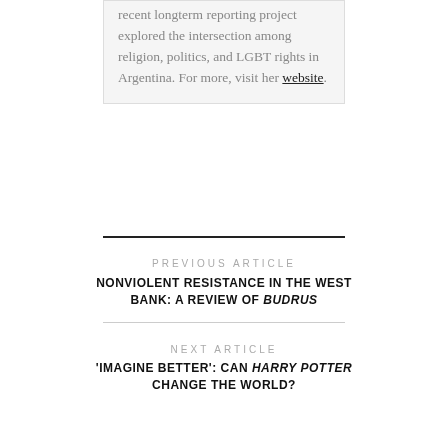recent longterm reporting project explored the intersection among religion, politics, and LGBT rights in Argentina. For more, visit her website.
PREVIOUS ARTICLE
NONVIOLENT RESISTANCE IN THE WEST BANK: A REVIEW OF BUDRUS
NEXT ARTICLE
'IMAGINE BETTER': CAN HARRY POTTER CHANGE THE WORLD?